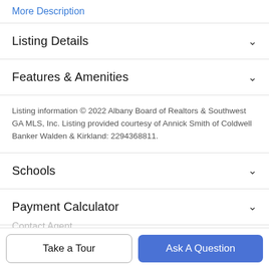More Description
Listing Details
Features & Amenities
Listing information © 2022 Albany Board of Realtors & Southwest GA MLS, Inc. Listing provided courtesy of Annick Smith of Coldwell Banker Walden & Kirkland: 2294368811.
Schools
Payment Calculator
Contact Agent
Take a Tour
Ask A Question